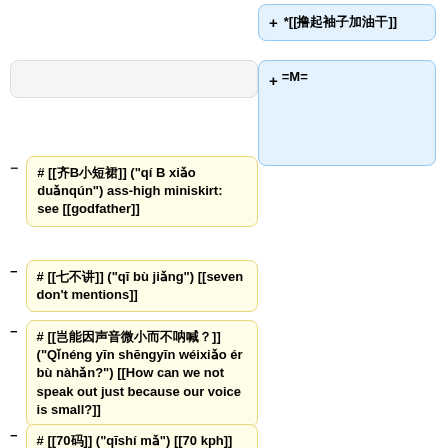+ *[[撸起袖子加油干]]
(empty added box)
(empty removed box)
=M=
# [[齐B小短裙]] ("qí B xiǎo duǎnqún") ass-high miniskirt: see [[godfather]]
# [[七不讲]] ("qī bù jiǎng") [[seven don't mentions]]
# [[岂能因声音微小而不呐喊？]] ("Qǐnéng yīn shēngyīn wéixiǎo ér bù nàhǎn?") [[How can we not speak out just because our voice is small?]]
# [[70码]] ("qīshí mǎ") [[70 kph]]
# [[撸起袖子加油干]] (partial)